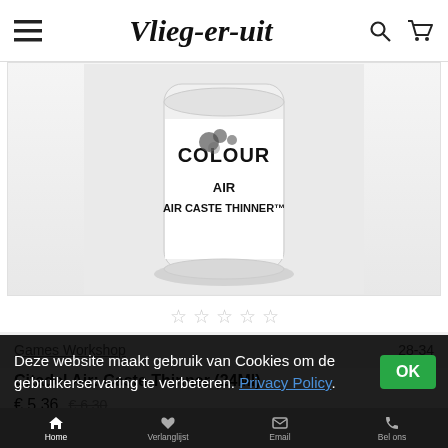Vlieg-er-uit
[Figure (photo): Product photo of Citadel Colour Air Caste Thinner bottle, white cylindrical container with black text reading COLOUR, AIR, AIR CASTE THINNER]
★☆☆☆☆ (empty star ratings)
Games Workshop    28-34
Citadel Air: Caste Thinner (24Ml)
€ 5,36  € 6,30 (strikethrough)
Deze website maakt gebruik van Cookies om de gebruikerservaring te verbeteren. Privacy Policy.
Home   Verlanglijst   Email   Bel ons